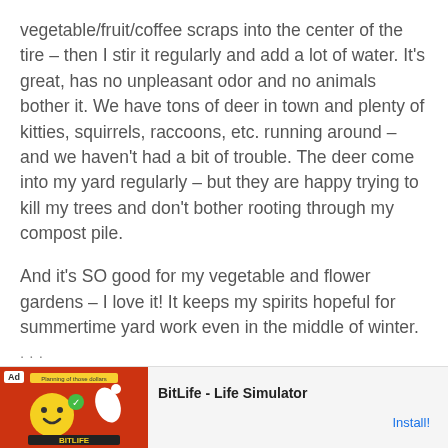vegetable/fruit/coffee scraps into the center of the tire – then I stir it regularly and add a lot of water. It's great, has no unpleasant odor and no animals bother it. We have tons of deer in town and plenty of kitties, squirrels, raccoons, etc. running around – and we haven't had a bit of trouble. The deer come into my yard regularly – but they are happy trying to kill my trees and don't bother rooting through my compost pile.
And it's SO good for my vegetable and flower gardens – I love it! It keeps my spirits hopeful for summertime yard work even in the middle of winter.
[Figure (other): Advertisement banner for BitLife - Life Simulator app with red background, emoji mascot, and Install button]